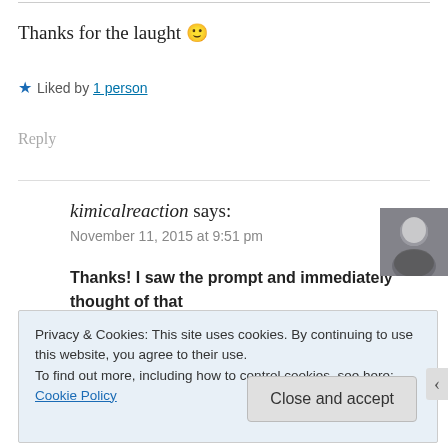Thanks for the laught 🙂
★ Liked by 1 person
Reply
kimicalreaction says:
November 11, 2015 at 9:51 pm
Thanks! I saw the prompt and immediately thought of that
Privacy & Cookies: This site uses cookies. By continuing to use this website, you agree to their use.
To find out more, including how to control cookies, see here: Cookie Policy
Close and accept